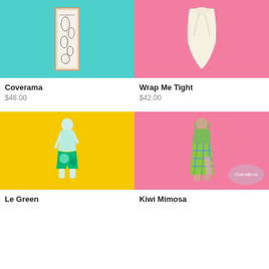[Figure (photo): Product image of Coverama art print on teal background]
Coverama
$48.00
[Figure (photo): Product image of Wrap Me Tight garment on pink background]
Wrap Me Tight
$42.00
[Figure (photo): Product image of Le Green outfit on yellow background]
Le Green
[Figure (photo): Product image of Kiwi Mimosa dress on pink background with Chat with us bubble]
Kiwi Mimosa